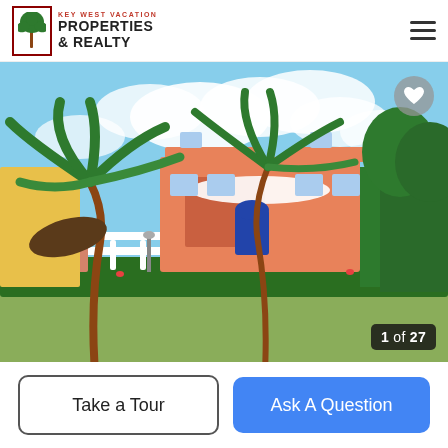KEY WEST VACATION PROPERTIES & REALTY
[Figure (photo): Exterior photo of a peach/salmon-colored two-story vacation property in Key West with palm trees in the foreground, a white metal fence, lush tropical landscaping and hedges, and a green lawn. Image counter shows 1 of 27.]
Take a Tour
Ask A Question